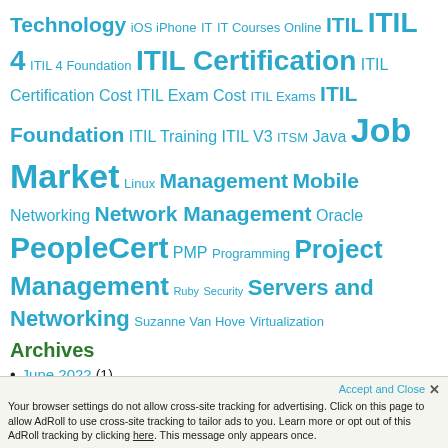Technology iOS iPhone IT IT Courses Online ITIL ITIL 4 ITIL 4 Foundation ITIL Certification ITIL Certification Cost ITIL Exam Cost ITIL Exams ITIL Foundation ITIL Training ITIL V3 ITSM Java Job Market Linux Management Mobile Networking Network Management Oracle PeopleCert PMP Programming Project Management Ruby Security Servers and Networking Suzanne Van Hove Virtualization
Archives
June 2022 (1)
May 2022 (3)
April 2022 (2)
March 2022 (2)
February 2022 (1)
Accept and Close ×
Your browser settings do not allow cross-site tracking for advertising. Click on this page to allow AdRoll to use cross-site tracking to tailor ads to you. Learn more or opt out of this AdRoll tracking by clicking here. This message only appears once.